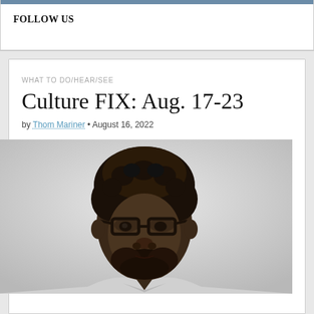FOLLOW US
WHAT TO DO/HEAR/SEE
Culture FIX: Aug. 17-23
by Thom Mariner • August 16, 2022
[Figure (photo): Black and white headshot portrait of a Black man with short curly hair, glasses, and a beard, wearing a light-colored top, against a light grey background.]